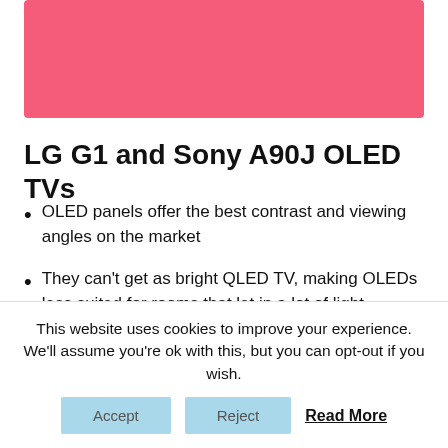[Figure (other): Pink/salmon colored rectangular banner image at top of page]
LG G1 and Sony A90J OLED TVs
OLED panels offer the best contrast and viewing angles on the market
They can't get as bright QLED TV, making OLEDs less suited for rooms that let in a lot of light
In addition to OLED picture performance, the LG G1 also features an incredibly thin “Gallery” design that enables it to be mounted flush to a wall.
This website uses cookies to improve your experience. We'll assume you're ok with this, but you can opt-out if you wish.
Accept   Reject   Read More